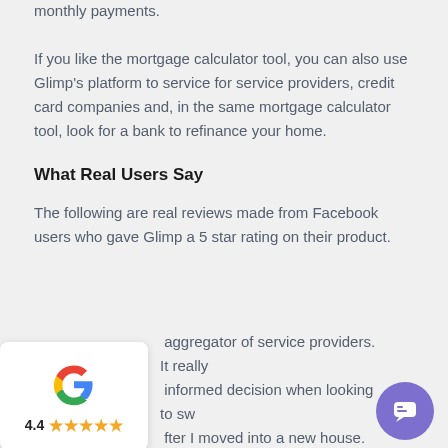monthly payments.
If you like the mortgage calculator tool, you can also use Glimp's platform to service for service providers, credit card companies and, in the same mortgage calculator tool, look for a bank to refinance your home.
What Real Users Say
The following are real reviews made from Facebook users who gave Glimp a 5 star rating on their product.
[Figure (other): Google review widget card showing Google logo, rating 4.4 and 5 gold stars]
aggregator of service providers. It really informed decision when looking to sw fter I moved into a new house.